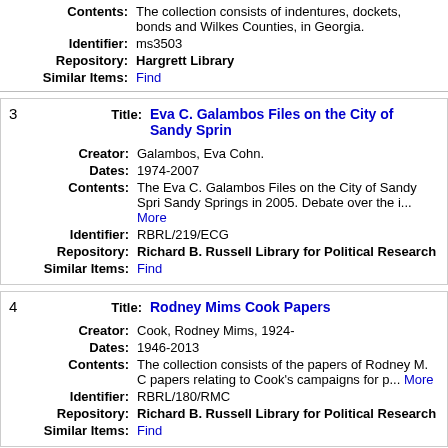Contents: The collection consists of indentures, dockets, bonds and Wilkes Counties, in Georgia.
Identifier: ms3503
Repository: Hargrett Library
Similar Items: Find
3 Eva C. Galambos Files on the City of Sandy Springs
Creator: Galambos, Eva Cohn.
Dates: 1974-2007
Contents: The Eva C. Galambos Files on the City of Sandy Springs in 2005. Debate over the i... More
Identifier: RBRL/219/ECG
Repository: Richard B. Russell Library for Political Research
Similar Items: Find
4 Rodney Mims Cook Papers
Creator: Cook, Rodney Mims, 1924-
Dates: 1946-2013
Contents: The collection consists of the papers of Rodney M. C papers relating to Cook's campaigns for p... More
Identifier: RBRL/180/RMC
Repository: Richard B. Russell Library for Political Research
Similar Items: Find